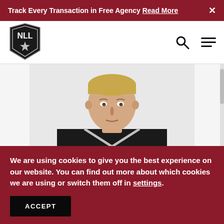Track Every Transaction in Free Agency Read More
[Figure (logo): NLL (National Lacrosse League) shield logo with star]
[Figure (photo): Headshot of a young blond male lacrosse player wearing a black NLL jersey with white trim]
We are using cookies to give you the best experience on our website. You can find out more about which cookies we are using or switch them off in settings.